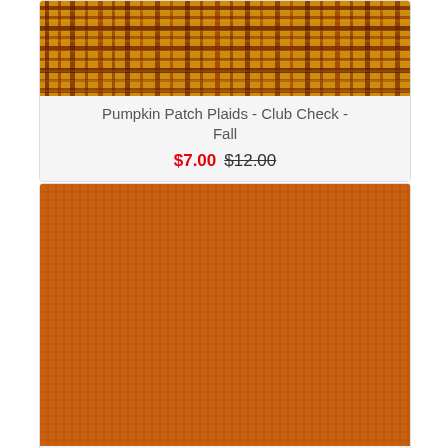[Figure (photo): Pumpkin patch plaid fabric swatch in fall colors - orange, red, dark brown plaid pattern]
Pumpkin Patch Plaids - Club Check - Fall
$7.00 $12.00
[Figure (photo): Pumpkin patch plaid fabric swatch in burnt orange with subtle grid pattern]
Pumpkin Patch Plaids - Double Graph - Burnt Orange